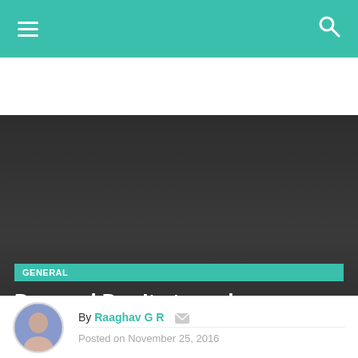GENERAL | Dos and Don'ts to make your startup survive first 3 years
[Figure (photo): Dark background hero image with category badge and article title overlay]
Dos and Don’ts to make your startup survive first 3 years
By Raaghav G R  Posted on November 25, 2016